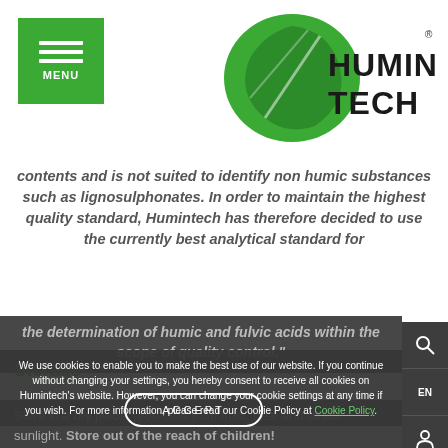[Figure (logo): Humintech logo with green leaf and company name]
contents and is not suited to identify non humic substances such as lignosulphonates. In order to maintain the highest quality standard, Humintech has therefore decided to use the currently best analytical standard for
the determination of humic and fulvic acids within the scope of quality control."
Storage
Store in a dry place, protected from frost, heat and direct sunlight. Store out of the reach of children!
We use cookies to enable you to make the best use of our website. If you continue without changing your settings, you hereby consent to receive all cookies on Humintech’s website. However, you can change your cookie settings at any time if you wish. For more information, please read our Cookie Policy at Cookie Policy.
ACCEPT